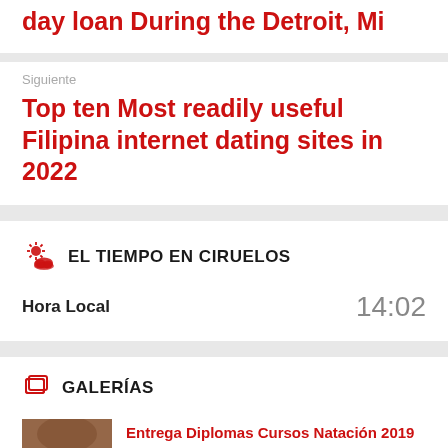day loan During the Detroit, Mi
Siguiente
Top ten Most readily useful Filipina internet dating sites in 2022
EL TIEMPO EN CIRUELOS
Hora Local
14:02
GALERÍAS
[Figure (photo): Thumbnail photo of a group of people outdoors, award ceremony]
Entrega Diplomas Cursos Natación 2019
5 imágenes